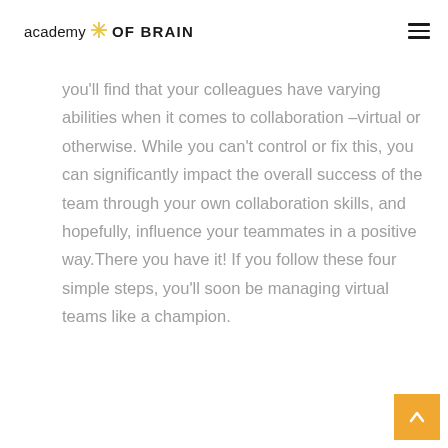academy OF BRAIN
you'll find that your colleagues have varying abilities when it comes to collaboration –virtual or otherwise. While you can't control or fix this, you can significantly impact the overall success of the team through your own collaboration skills, and hopefully, influence your teammates in a positive way.There you have it! If you follow these four simple steps, you'll soon be managing virtual teams like a champion.